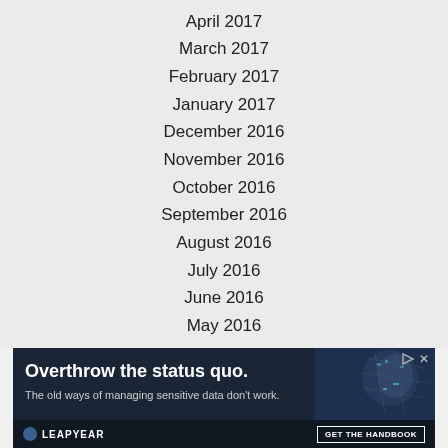April 2017
March 2017
February 2017
January 2017
December 2016
November 2016
October 2016
September 2016
August 2016
July 2016
June 2016
May 2016
[Figure (other): Advertisement banner: 'Overthrow the status quo. The old ways of managing sensitive data don't work.' with LEAPYEAR branding and 'GET THE HANDBOOK' call to action button, featuring an image of a person with circuit board overlay.]